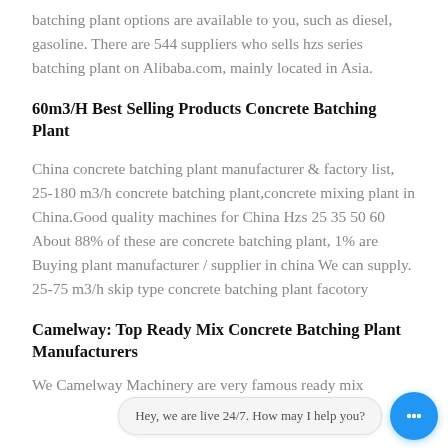batching plant options are available to you, such as diesel, gasoline. There are 544 suppliers who sells hzs series batching plant on Alibaba.com, mainly located in Asia.
60m3/H Best Selling Products Concrete Batching Plant
China concrete batching plant manufacturer & factory list, 25-180 m3/h concrete batching plant,concrete mixing plant in China.Good quality machines for China Hzs 25 35 50 60 About 88% of these are concrete batching plant, 1% are Buying plant manufacturer / supplier in china We can supply. 25-75 m3/h skip type concrete batching plant facotory
Camelway: Top Ready Mix Concrete Batching Plant Manufacturers
We Camelway Machinery are very famous ready mix